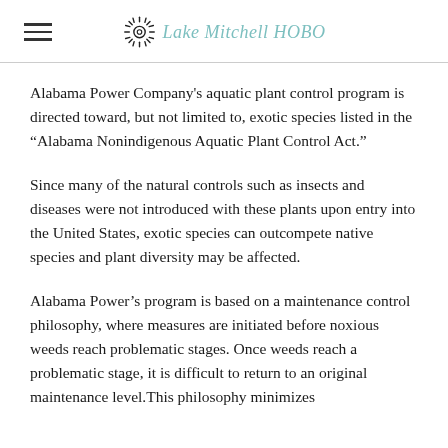Lake Mitchell HOBO
Alabama Power Company's aquatic plant control program is directed toward, but not limited to, exotic species listed in the “Alabama Nonindigenous Aquatic Plant Control Act.”
Since many of the natural controls such as insects and diseases were not introduced with these plants upon entry into the United States, exotic species can outcompete native species and plant diversity may be affected.
Alabama Power’s program is based on a maintenance control philosophy, where measures are initiated before noxious weeds reach problematic stages. Once weeds reach a problematic stage, it is difficult to return to an original maintenance level.This philosophy minimizes